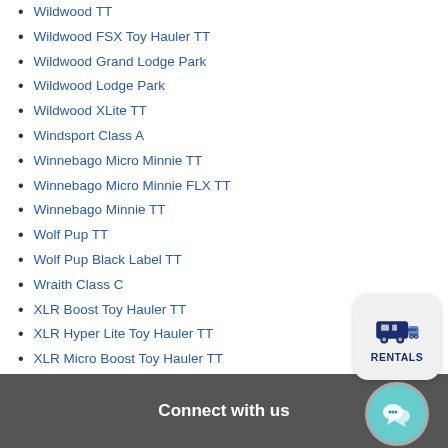Wildwood TT
Wildwood FSX Toy Hauler TT
Wildwood Grand Lodge Park
Wildwood Lodge Park
Wildwood XLite TT
Windsport Class A
Winnebago Micro Minnie TT
Winnebago Micro Minnie FLX TT
Winnebago Minnie TT
Wolf Pup TT
Wolf Pup Black Label TT
Wraith Class C
XLR Boost Toy Hauler TT
XLR Hyper Lite Toy Hauler TT
XLR Micro Boost Toy Hauler TT
XLR Micro Boost FW Toy Hauler 5th
XLR Nitro Toy Hauler 5th
Zinger TT
Zinger Lite Dual Axle TT
Zinger Lite Single Axle TT
[Figure (logo): Rentals badge with RV icon and RENTALS text]
[Figure (illustration): Chat bubble icon in teal circle]
Connect with us